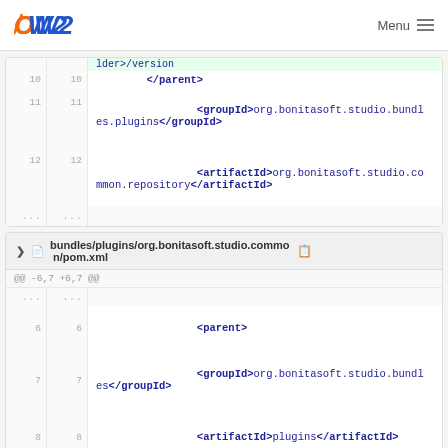OW2  Menu
[Figure (screenshot): Code diff block showing XML with lines 10-12 and ellipsis. Line 10: </parent>, Line 11 (blank), then groupId tag with org.bonitasoft.studio.bundles.plugins</groupId>, Line 12: <artifactId>org.bonitasoft.studio.common.repository</artifactId>, then ellipsis rows.]
bundles/plugins/org.bonitasoft.studio.common/pom.xml
[Figure (screenshot): Code diff block for bundles/plugins/org.bonitasoft.studio.common/pom.xml. Hunk: @@ -6,7 +6,7 @@. Line 6: <parent>, Line 7 (blank) then <groupId>org.bonitasoft.studio.bundles</groupId>, Line 8: <artifactId>plugins</artifactId>, Line 9 (partial, pink background).]